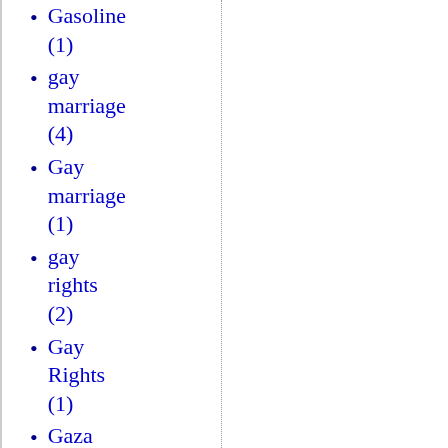Gasoline (1)
gay marriage (4)
Gay marriage (1)
gay rights (2)
Gay Rights (1)
Gaza (2)
GDP (1)
Geert Wilders (5)
Gelernter (1)
gender issues